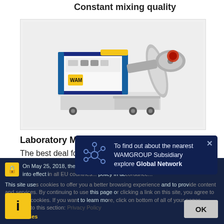Constant mixing quality
[Figure (photo): Laboratory mixer machine MLH - white and blue industrial unit with yellow accents, cylindrical mixing drum on right side, on wheeled cart]
Laboratory Mixers - MLH
The best deal for your laboratory
On May 25, 2018, the new General Data Protection Regulation (GDPR) enters into effect in all EU countries. We have updated our privacy policy in ac...
This site uses cookies to offer you a better browsing experience and to provide content and services. By continuing to use this page or clicking a link on this site, you agree to the use of cookies. If you want to learn more...
and Cookies
To find out about the nearest WAMGROUP Subsidiary explore Global Network